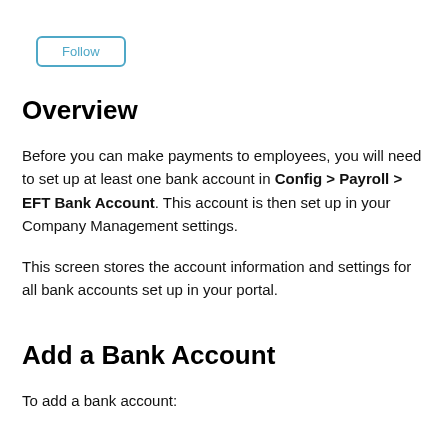[Figure (other): Follow button with teal/blue border]
Overview
Before you can make payments to employees, you will need to set up at least one bank account in Config > Payroll > EFT Bank Account. This account is then set up in your Company Management settings.
This screen stores the account information and settings for all bank accounts set up in your portal.
Add a Bank Account
To add a bank account: